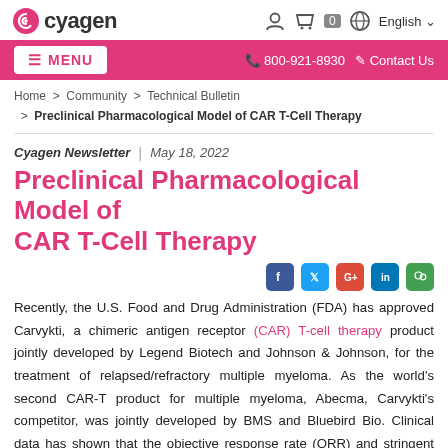cyagen | 800-921-8930 | Contact Us | English
Home > Community > Technical Bulletin > Preclinical Pharmacological Model of CAR T-Cell Therapy
Cyagen Newsletter | May 18, 2022
Preclinical Pharmacological Model of CAR T-Cell Therapy
[Figure (other): Social media sharing icons: Facebook, Twitter, Google+, LinkedIn, WeChat]
Recently, the U.S. Food and Drug Administration (FDA) has approved Carvykti, a chimeric antigen receptor (CAR) T-cell therapy product jointly developed by Legend Biotech and Johnson & Johnson, for the treatment of relapsed/refractory multiple myeloma. As the world's second CAR-T product for multiple myeloma, Abecma, Carvykti's competitor, was jointly developed by BMS and Bluebird Bio. Clinical data has shown that the objective response rate (ORR) and stringent complete response (sCR) of Carvykti are